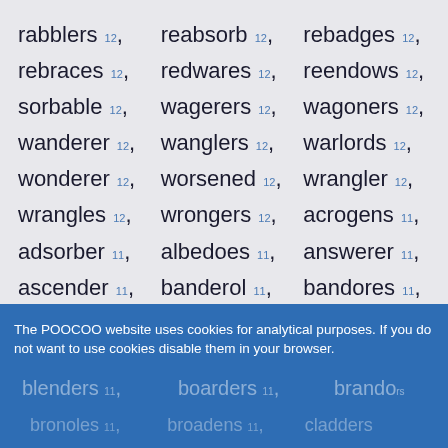rabblers 12, reabsorb 12, rebadges 12,
rebraces 12, redwares 12, reendows 12,
sorbable 12, wagerers 12, wagoners 12,
wanderer 12, wanglers 12, warlords 12,
wonderer 12, worsened 12, wrangler 12,
wrangles 12, wrongers 12, acrogens 11,
adsorber 11, albedoes 11, answerer 11,
ascender 11, banderol 11, bandores 11,
bandrols 11, barreled 11, beaglers 11,
blenders 11, boarders 11, brandors 11,
bronoles 11, broadens 11, cladders 11,
The POOCOO website uses cookies for analytical purposes. If you do not want to use cookies disable them in your browser.